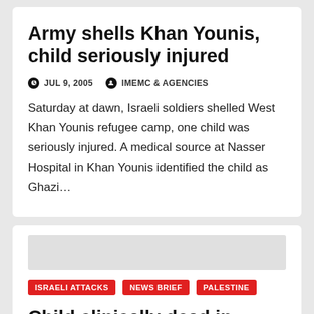Army shells Khan Younis, child seriously injured
JUL 9, 2005   IMEMC & AGENCIES
Saturday at dawn, Israeli soldiers shelled West Khan Younis refugee camp, one child was seriously injured. A medical source at Nasser Hospital in Khan Younis identified the child as Ghazi…
ISRAELI ATTACKS   NEWS BRIEF   PALESTINE
Child clinically dead in Nablus
JUL 9, 2005   IMEMC & AGENCIES